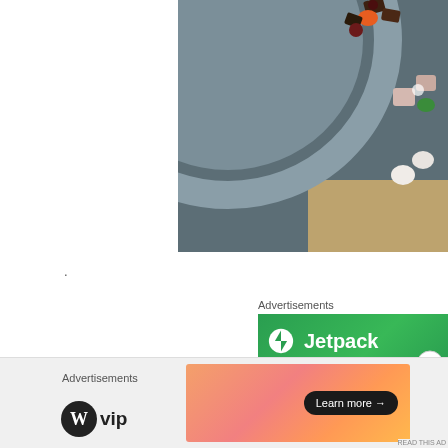[Figure (photo): Overhead view of a gray ceramic plate with colorful candies, marshmallows, and chocolate pieces on a dark stone surface with a wooden board]
.
Advertisements
[Figure (screenshot): Jetpack advertisement banner with green background showing Jetpack logo (lightning bolt in circle) and text 'Jetpack']
[Figure (other): Close button (X circle) for advertisement]
Advertisements
[Figure (logo): WordPress VIP logo showing WordPress W circle icon followed by 'vip' text in bold]
[Figure (screenshot): Advertisement banner with gradient orange/salmon background and 'Learn more →' button in dark pill shape]